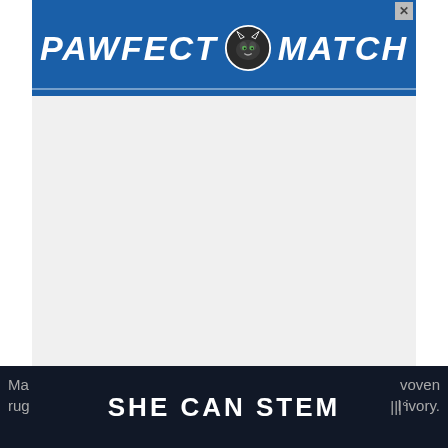[Figure (other): Advertisement banner with blue background reading PAWFECT MATCH with a cat icon in the center and a close X button in top right corner]
[Figure (other): Empty advertisement space with light gray background and weather widget icon in bottom right corner]
This is one of the best basement area rugs that you can have an eye on. Firstly, its appealing vintage looks tend to exhibit a homely vibe to your basement floor. And secondly, it has a no pile base to help easily release moisture.
[Figure (other): Dark navy advertisement banner reading SHE CAN STEM in bold white text with partial text visible on left and right edges]